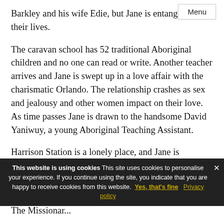Barkley and his wife Edie, but Jane is entangled in their lives.
The caravan school has 52 traditional Aboriginal children and no one can read or write. Another teacher arrives and Jane is swept up in a love affair with the charismatic Orlando. The relationship crashes as sex and jealousy and other women impact on their love. As time passes Jane is drawn to the handsome David Yaniwuy, a young Aboriginal Teaching Assistant.
Harrison Station is a lonely place, and Jane is sustained by her friendship with the Lanniwah children and grows in Aboriginal spiritual awareness through her relationships with Old Lucy and the headman, Old
The site is using cookies — This site uses cookies to personalise your experience. If you continue using the site, you indicate that you are happy to receive cookies from this website. Yes, that's fine  Privacy policy
The Missionari...